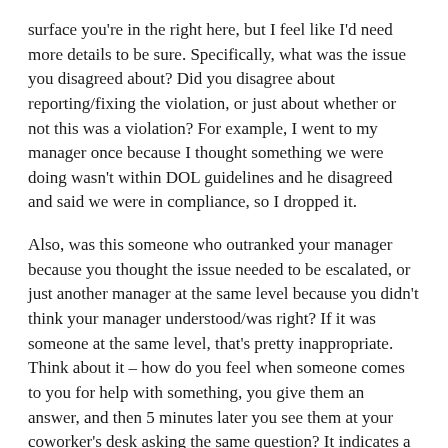surface you're in the right here, but I feel like I'd need more details to be sure. Specifically, what was the issue you disagreed about? Did you disagree about reporting/fixing the violation, or just about whether or not this was a violation? For example, I went to my manager once because I thought something we were doing wasn't within DOL guidelines and he disagreed and said we were in compliance, so I dropped it.
Also, was this someone who outranked your manager because you thought the issue needed to be escalated, or just another manager at the same level because you didn't think your manager understood/was right? If it was someone at the same level, that's pretty inappropriate. Think about it – how do you feel when someone comes to you for help with something, you give them an answer, and then 5 minutes later you see them at your coworker's desk asking the same question? It indicates a serious lack of trust. If you truly thought this was something that needed to be addressed for legal reasons, going above your manager or to HR should be the answer, not another manager at the same level.